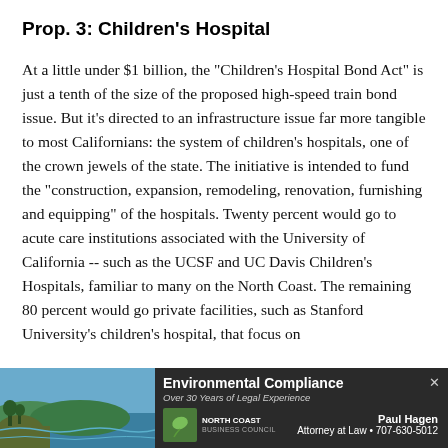Prop. 3: Children's Hospital
At a little under $1 billion, the "Children's Hospital Bond Act" is just a tenth of the size of the proposed high-speed train bond issue. But it's directed to an infrastructure issue far more tangible to most Californians: the system of children's hospitals, one of the crown jewels of the state. The initiative is intended to fund the "construction, expansion, remodeling, renovation, furnishing and equipping" of the hospitals. Twenty percent would go to acute care institutions associated with the University of California -- such as the UCSF and UC Davis Children's Hospitals, familiar to many on the North Coast. The remaining 80 percent would go private facilities, such as Stanford University's children's hospital, that focus on
[Figure (infographic): Advertisement banner for North Coast Environmental Compliance law firm. Shows a coastal landscape photo on the left, with text 'Environmental Compliance', 'Over 30 Years of Legal Experience', North Coast logo, and contact info for Paul Hagen, Attorney at Law, 707-630-5012.]